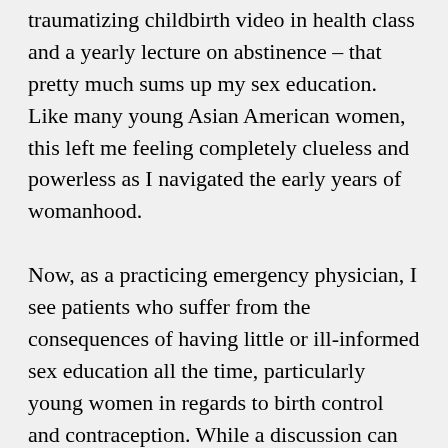traumatizing childbirth video in health class and a yearly lecture on abstinence – that pretty much sums up my sex education. Like many young Asian American women, this left me feeling completely clueless and powerless as I navigated the early years of womanhood.
Now, as a practicing emergency physician, I see patients who suffer from the consequences of having little or ill-informed sex education all the time, particularly young women in regards to birth control and contraception. While a discussion can always be made for ways to improve education at the school level, I believe it is more important to normalize these conversations in the home and among peers. I hope that by generating more open discussion in the Asian community, we can work